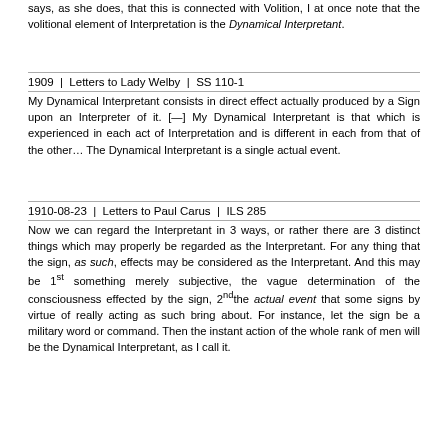says, as she does, that this is connected with Volition, I at once note that the volitional element of Interpretation is the Dynamical Interpretant.
1909 | Letters to Lady Welby | SS 110-1
My Dynamical Interpretant consists in direct effect actually produced by a Sign upon an Interpreter of it. [—] My Dynamical Interpretant is that which is experienced in each act of Interpretation and is different in each from that of the other… The Dynamical Interpretant is a single actual event.
1910-08-23 | Letters to Paul Carus | ILS 285
Now we can regard the Interpretant in 3 ways, or rather there are 3 distinct things which may properly be regarded as the Interpretant. For any thing that the sign, as such, effects may be considered as the Interpretant. And this may be 1st something merely subjective, the vague determination of the consciousness effected by the sign, 2ndthe actual event that some signs by virtue of really acting as such bring about. For instance, let the sign be a military word or command. Then the instant action of the whole rank of men will be the Dynamical Interpretant, as I call it.